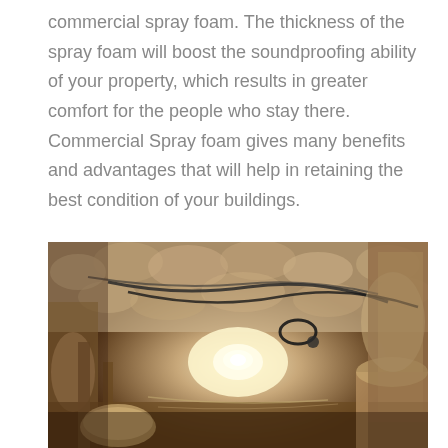commercial spray foam. The thickness of the spray foam will boost the soundproofing ability of your property, which results in greater comfort for the people who stay there. Commercial Spray foam gives many benefits and advantages that will help in retaining the best condition of your buildings.
[Figure (photo): Interior photo of a building with spray foam insulation applied to the ceiling and surfaces. HVAC ducts and electrical wiring are visible, with a bright light source in the background illuminating the foam-covered space.]